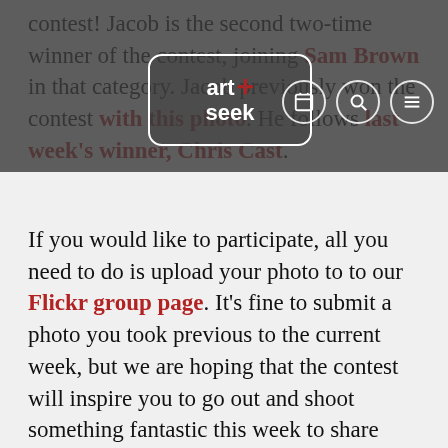art+seek [logo with navigation icons: calendar, search, menu]
contest! Jacob is the second two-time winner of the contest, joining Sam Brown in that category. Jacob previously won the contest with this photo. He follows last week's winner, Chris Cast.
If you would like to participate, all you need to do is upload your photo to to our Flickr group page. It's fine to submit a photo you took previous to the current week, but we are hoping that the contest will inspire you to go out and shoot something fantastic this week to share with Art&Seek users. If the picture you take involves another facet of the arts, even better. The contest week will run from Monday